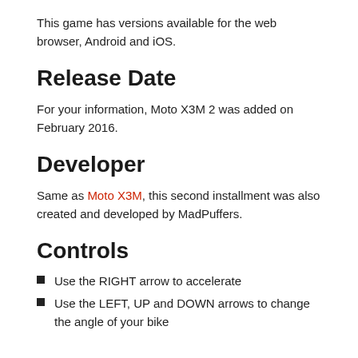This game has versions available for the web browser, Android and iOS.
Release Date
For your information, Moto X3M 2 was added on February 2016.
Developer
Same as Moto X3M, this second installment was also created and developed by MadPuffers.
Controls
Use the RIGHT arrow to accelerate
Use the LEFT, UP and DOWN arrows to change the angle of your bike